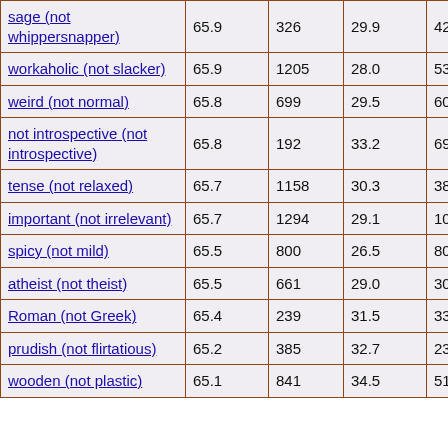| sage (not whippersnapper) | 65.9 | 326 | 29.9 | 42 |
| workaholic (not slacker) | 65.9 | 1205 | 28.0 | 53 |
| weird (not normal) | 65.8 | 699 | 29.5 | 60 |
| not introspective (not introspective) | 65.8 | 192 | 33.2 | 69 |
| tense (not relaxed) | 65.7 | 1158 | 30.3 | 38 |
| important (not irrelevant) | 65.7 | 1294 | 29.1 | 100 |
| spicy (not mild) | 65.5 | 800 | 26.5 | 80 |
| atheist (not theist) | 65.5 | 661 | 29.0 | 30 |
| Roman (not Greek) | 65.4 | 239 | 31.5 | 33 |
| prudish (not flirtatious) | 65.2 | 385 | 32.7 | 23 |
| wooden (not plastic) | 65.1 | 841 | 34.5 | 51 |